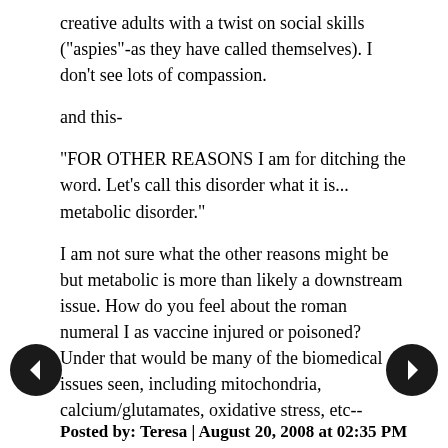creative adults with a twist on social skills ("aspies"-as they have called themselves). I don't see lots of compassion.
and this-
"FOR OTHER REASONS I am for ditching the word. Let's call this disorder what it is... metabolic disorder."
I am not sure what the other reasons might be but metabolic is more than likely a downstream issue. How do you feel about the roman numeral I as vaccine injured or poisoned? Under that would be many of the biomedical issues seen, including mitochondria, calcium/glutamates, oxidative stress, etc--
Posted by: Teresa | August 20, 2008 at 02:35 PM